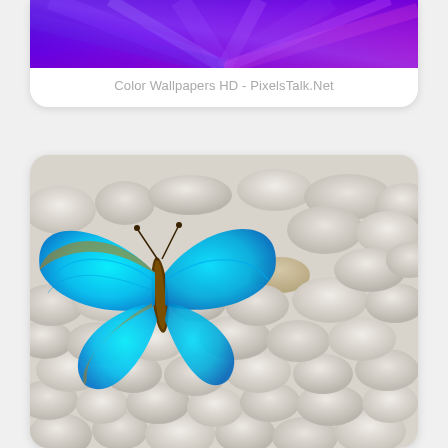[Figure (photo): Top portion of a card showing a purple/blue abstract light ray background, cropped at the top. Below it is the caption text 'Color Wallpapers HD - PixelsTalk.Net' in gray.]
Color Wallpapers HD - PixelsTalk.Net
[Figure (photo): A vivid cyan-blue morpho butterfly resting on a bed of smooth white pebble stones. The butterfly has bright iridescent blue wings with a brown/gold body and underwing edges. The stones are rounded and white/beige in color, filling the entire background.]